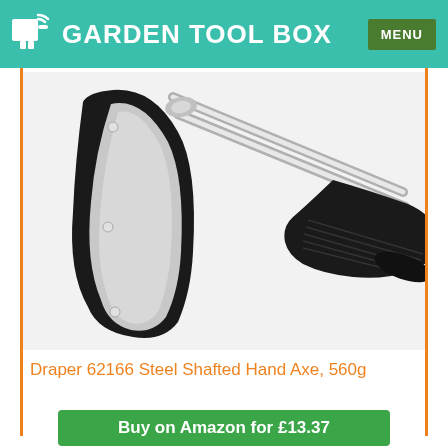GARDEN TOOL BOX  MENU
[Figure (photo): Close-up photo of the Draper 62166 Steel Shafted Hand Axe showing the axe head with black protective cover, chrome steel shaft, and black rubber grip handle against a white background.]
Draper 62166 Steel Shafted Hand Axe, 560g
Buy on Amazon for £13.37